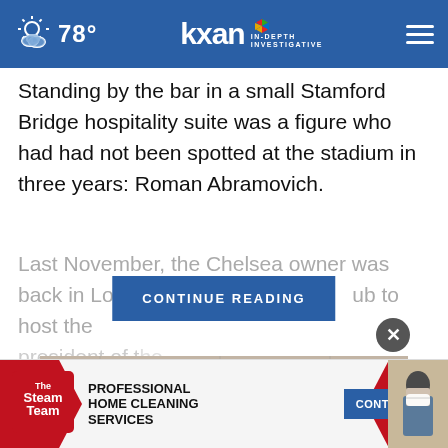78° kxan IN-DEPTH INVESTIGATIVE
Standing by the bar in a small Stamford Bridge hospitality suite was a figure who had had not been spotted at the stadium in three years: Roman Abramovich.
Last November, the Chelsea owner was back in London at his [CONTINUE READING] ub to host the president of t...
[Figure (photo): Security camera mounted on a stone wall, viewed from below]
[Figure (infographic): Advertisement banner for The Steam Team Professional Home Cleaning Services with a Contact Us button]